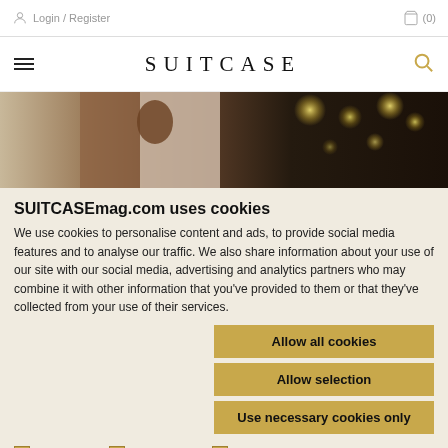Login / Register  (0)
[Figure (screenshot): SUITCASE magazine navigation bar with hamburger menu, SUITCASE logo in large spaced letters, and a gold search icon]
[Figure (photo): Hero image showing a person in white shirt and brown apron in a dark restaurant with bokeh lights in background]
SUITCASEmag.com uses cookies
We use cookies to personalise content and ads, to provide social media features and to analyse our traffic. We also share information about your use of our site with our social media, advertising and analytics partners who may combine it with other information that you've provided to them or that they've collected from your use of their services.
Allow all cookies
Allow selection
Use necessary cookies only
Necessary  Preferences  Statistics  Marketing  Show details